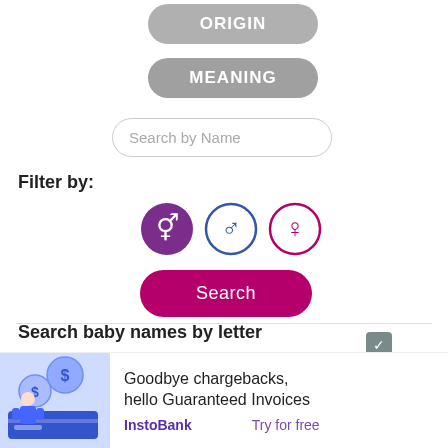ORIGIN
MEANING
Search by Name
Filter by:
[Figure (illustration): Three gender filter icons: a purple filled circle with combined male+female symbol, a blue outlined circle with male symbol, and a pink/crimson outlined circle with female symbol]
Search
Search baby names by letter
[Figure (infographic): Advertisement banner: illustration of man with coin/money graphics on blue background, text 'Goodbye chargebacks, hello Guaranteed Invoices', with InstoBank and Try for free links]